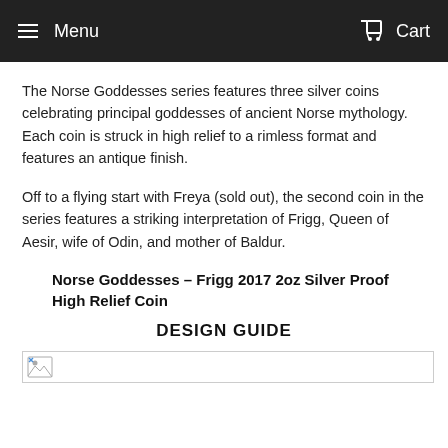Menu   Cart
The Norse Goddesses series features three silver coins celebrating principal goddesses of ancient Norse mythology. Each coin is struck in high relief to a rimless format and features an antique finish.
Off to a flying start with Freya (sold out), the second coin in the series features a striking interpretation of Frigg, Queen of Aesir, wife of Odin, and mother of Baldur.
Norse Goddesses – Frigg 2017 2oz Silver Proof High Relief Coin
DESIGN GUIDE
[Figure (photo): Broken/unloaded image placeholder for the coin design guide image]